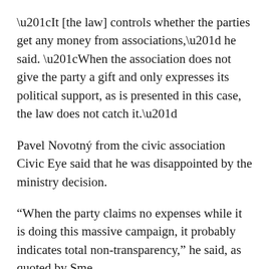“It [the law] controls whether the parties get any money from associations,” he said. “When the association does not give the party a gift and only expresses its political support, as is presented in this case, the law does not catch it.”
Pavel Novotný from the civic association Civic Eye said that he was disappointed by the ministry decision.
“When the party claims no expenses while it is doing this massive campaign, it probably indicates total non-transparency,” he said, as quoted by Sme.
The financing of the party has also been questioned by the chair of OļaNO , Igor Matovič. He offered 99 Percent €33,200 from his party’s pre-election funds if